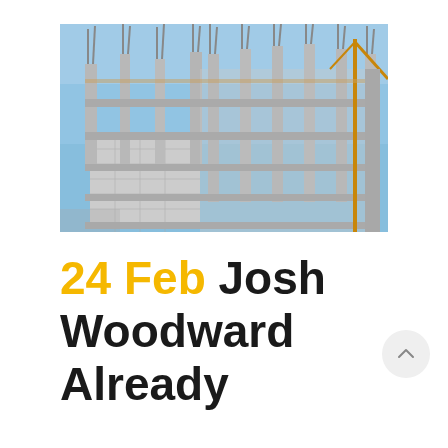[Figure (photo): Construction site showing a multi-story concrete building under construction with scaffolding, rebar columns protruding upward, block masonry walls visible, and a yellow crane visible on the right side against a blue sky.]
24 Feb Josh Woodward Already